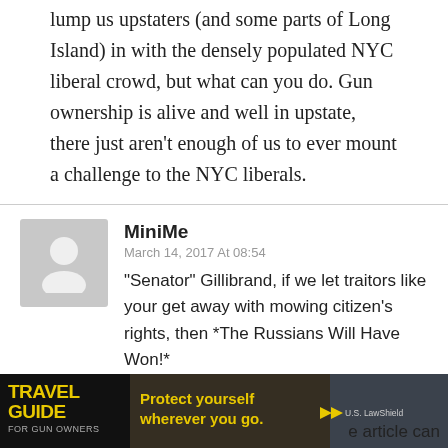lump us upstaters (and some parts of Long Island) in with the densely populated NYC liberal crowd, but what can you do. Gun ownership is alive and well in upstate, there just aren't enough of us to ever mount a challenge to the NYC liberals.
MiniMe
March 14, 2017 At 08:54
"Senator" Gillibrand, if we let traitors like your get away with mowing citizen's rights, then *The Russians Will Have Won!*
Reply
Somebody
[Figure (screenshot): Travel Guide for Gun Owners advertisement banner: dark background with text 'TRAVEL GUIDE FOR GUN OWNERS' on left and 'Protect yourself wherever you go.' with arrow icons and U.S. LawShield branding on right]
e article can